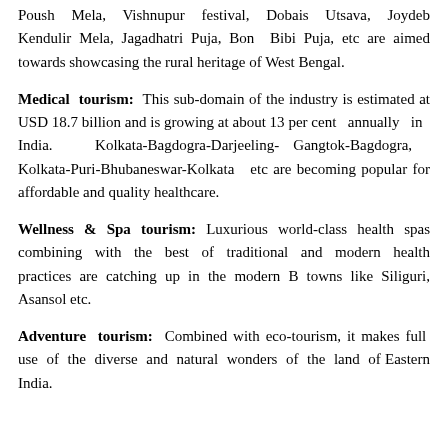Poush Mela, Vishnupur festival, Dobais Utsava, Joydeb Kendulir Mela, Jagadhatri Puja, Bon Bibi Puja, etc are aimed towards showcasing the rural heritage of West Bengal.
Medical tourism: This sub-domain of the industry is estimated at USD 18.7 billion and is growing at about 13 per cent annually in India. Kolkata-Bagdogra-Darjeeling-Gangtok-Bagdogra, Kolkata-Puri-Bhubaneswar-Kolkata etc are becoming popular for affordable and quality healthcare.
Wellness & Spa tourism: Luxurious world-class health spas combining with the best of traditional and modern health practices are catching up in the modern B towns like Siliguri, Asansol etc.
Adventure tourism: Combined with eco-tourism, it makes full use of the diverse and natural wonders of the land of Eastern India.